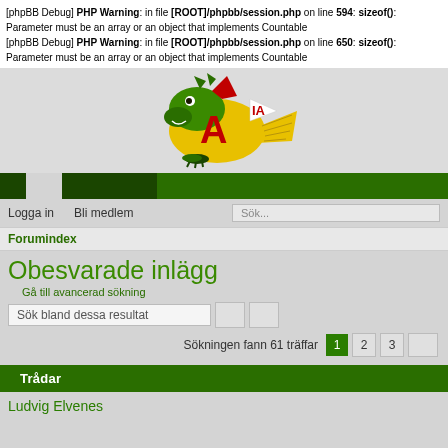[phpBB Debug] PHP Warning: in file [ROOT]/phpbb/session.php on line 594: sizeof(): Parameter must be an array or an object that implements Countable
[phpBB Debug] PHP Warning: in file [ROOT]/phpbb/session.php on line 650: sizeof(): Parameter must be an array or an object that implements Countable
[Figure (logo): Forum logo: dragon mascot with red letter A and IA flag]
Logga in   Bli medlem   Sök...
Forumindex
Obesvarade inlägg
Gå till avancerad sökning
Sök bland dessa resultat
Sökningen fann 61 träffar   1   2   3
Trådar
Ludvig Elvenes